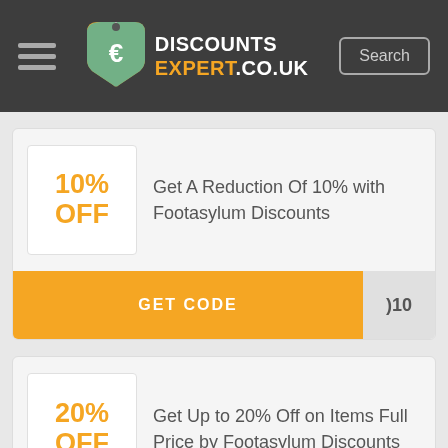DISCOUNTS EXPERT.CO.UK
[Figure (logo): DiscountsExpert.co.uk tag logo with orange and teal price tag icon]
Get A Reduction Of 10% with Footasylum Discounts
GET CODE | )10
Get Up to 20% Off on Items Full Price by Footasylum Discounts
GET CODE | FA